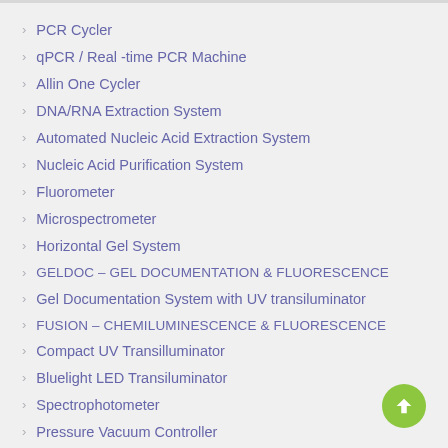PCR Cycler
qPCR / Real -time PCR Machine
Allin One Cycler
DNA/RNA Extraction System
Automated Nucleic Acid Extraction System
Nucleic Acid Purification System
Fluorometer
Microspectrometer
Horizontal Gel System
GELDOC – GEL DOCUMENTATION & FLUORESCENCE
Gel Documentation System with UV transiluminator
FUSION – CHEMILUMINESCENCE & FLUORESCENCE
Compact UV Transilluminator
Bluelight LED Transiluminator
Spectrophotometer
Pressure Vacuum Controller
Cell Counter